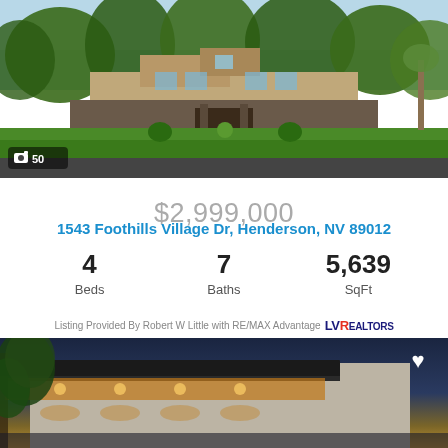[Figure (photo): Exterior photo of luxury home at 1543 Foothills Village Dr with lush green landscaping, stone facade, and large trees. Shows camera icon with '50' photo count.]
$2,999,000
1543 Foothills Village Dr, Henderson, NV 89012
| 4 | 7 | 5,639 |
| Beds | Baths | SqFt |
Listing Provided By Robert W Little with RE/MAX Advantage LVR REALTORS
[Figure (photo): Modern luxury home exterior at dusk/sunset showing a dark overhang canopy with warm recessed lighting, trees on the left, and a twilight sky background. Heart/favorite icon in upper right.]